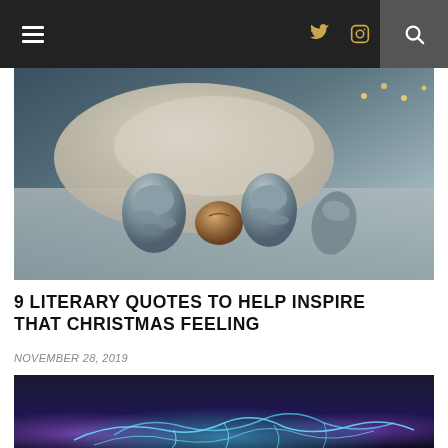Navigation bar with hamburger menu, Twitter icon, Instagram icon, and search button
[Figure (photo): Close-up photo of winter/Christmas decorations: grey pine cones, a walnut, and a fabric cloth/bag on a muted teal background]
9 LITERARY QUOTES TO HELP INSPIRE THAT CHRISTMAS FEELING
NOVEMBER 28, 2019
[Figure (photo): Dark venue/gallery space with a dramatic blue-white light installation on the floor creating glowing curved lines, with purple ambient lighting in the background]